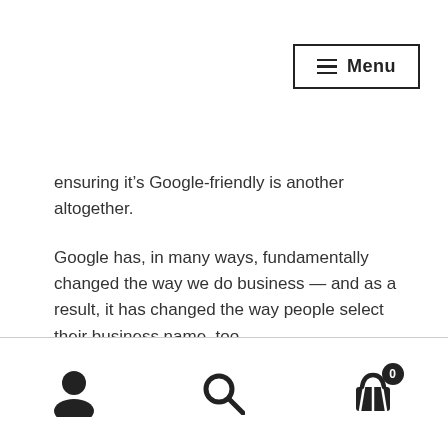Menu
ensuring it's Google-friendly is another altogether.
Google has, in many ways, fundamentally changed the way we do business — and as a result, it has changed the way people select their business name, too.
If your business name is too obscure that it becomes too hard to remember, then it won't work; if it's too common that it returns hundreds upon hundreds of Google results, it won't work, either; if it's too long, too short, too boring — won't work, won't work, won't work.
[user icon] [search icon] [cart icon with badge 0]